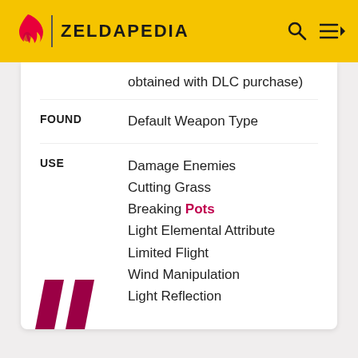ZELDAPEDIA
obtained with DLC purchase)
| Field | Value |
| --- | --- |
| FOUND | Default Weapon Type |
| USE | Damage Enemies
Cutting Grass
Breaking Pots
Light Elemental Attribute
Limited Flight
Wind Manipulation
Light Reflection |
[Figure (illustration): Large decorative quotation mark icon in dark pink/crimson color, two parallelogram slash shapes side by side]